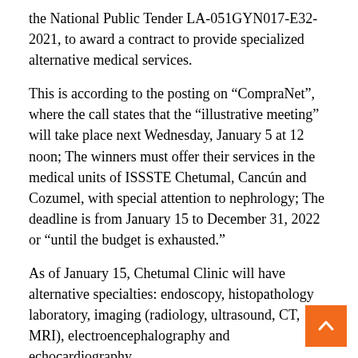the National Public Tender LA-051GYN017-E32-2021, to award a contract to provide specialized alternative medical services.
This is according to the posting on “CompraNet”, where the call states that the “illustrative meeting” will take place next Wednesday, January 5 at 12 noon; The winners must offer their services in the medical units of ISSSTE Chetumal, Cancún and Cozumel, with special attention to nephrology; The deadline is from January 15 to December 31, 2022 or “until the budget is exhausted.”
As of January 15, Chetumal Clinic will have alternative specialties: endoscopy, histopathology laboratory, imaging (radiology, ultrasound, CT, MRI), electroencephalography and echocardiography.